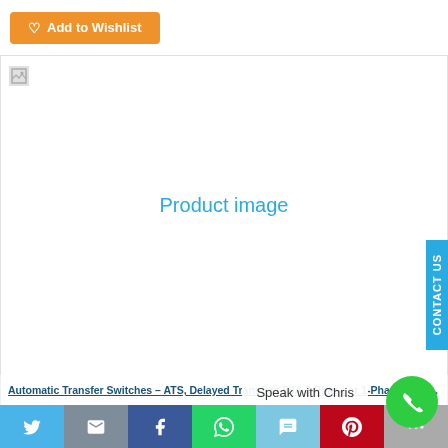[Figure (screenshot): Add to Wishlist button with heart icon, orange background]
[Figure (photo): Product image placeholder with broken image icon and cyan 'Product image' text label]
CONTACT US
Speak with Chris
Automatic Transfer Switches – ATS, Delayed Transfers 60A 3-Phase or 1-Phase Automatic Changeover for 2
[Figure (screenshot): Social sharing bar with Twitter, email, Facebook, WhatsApp, SMS, Pinterest, and more icons]